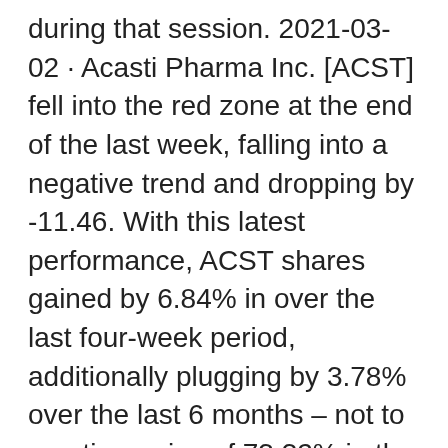during that session. 2021-03-02 · Acasti Pharma Inc. [ACST] fell into the red zone at the end of the last week, falling into a negative trend and dropping by -11.46. With this latest performance, ACST shares gained by 6.84% in over the last four-week period, additionally plugging by 3.78% over the last 6 months – not to mention a rise of 73.32% in the past year of trading. Acasti Pharma Inc. (NASDAQ: ACST) announced that it has appointed seasoned financial executive Brian D. Ford as its Chief Financial Officer, effective September 14, 2020. Mr. Acasti Pharma Inc (NASDAQ:ACST) ( CVE:ACST) has been granted patents related to the development of its prescription drug candidate CaPre in Israel, Mexico and Chile, the pharmaceutical company announced Wednesday. Safe album